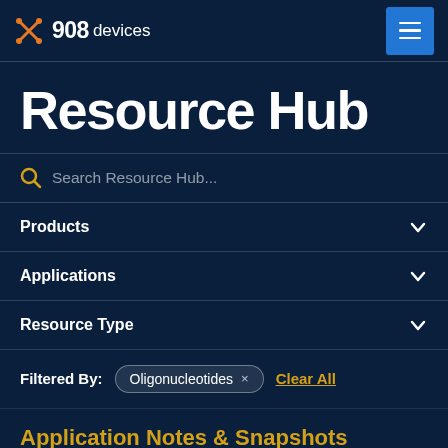908devices — Resource Hub
Resource Hub
Search Resource Hub...
Products
Applications
Resource Type
Filtered By: Oligonucleotides × Clear All
Application Notes & Snapshots